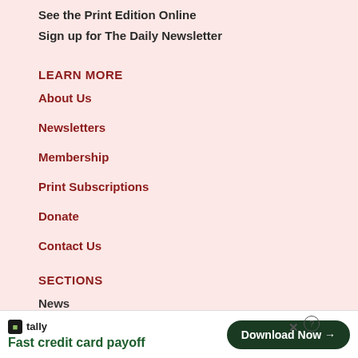See the Print Edition Online
Sign up for The Daily Newsletter
LEARN MORE
About Us
Newsletters
Membership
Print Subscriptions
Donate
Contact Us
SECTIONS
News
[Figure (screenshot): Advertisement banner for Tally app: 'Fast credit card payoff' with a 'Download Now' button]